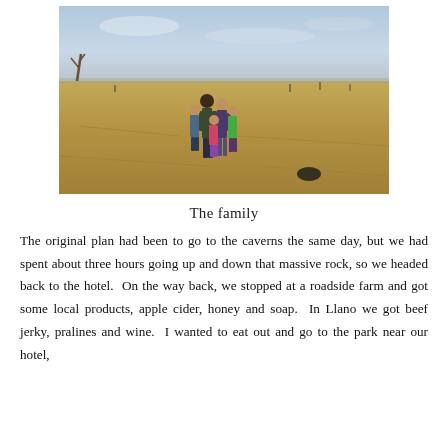[Figure (photo): A family group of five people (one adult male, one adult female, and three children) standing on a large flat rocky surface with dry grass, under a partly cloudy sky. Wide open landscape visible in the background.]
The family
The original plan had been to go to the caverns the same day, but we had spent about three hours going up and down that massive rock, so we headed back to the hotel.  On the way back, we stopped at a roadside farm and got some local products, apple cider, honey and soap.  In Llano we got beef jerky, pralines and wine.  I wanted to eat out and go to the park near our hotel,